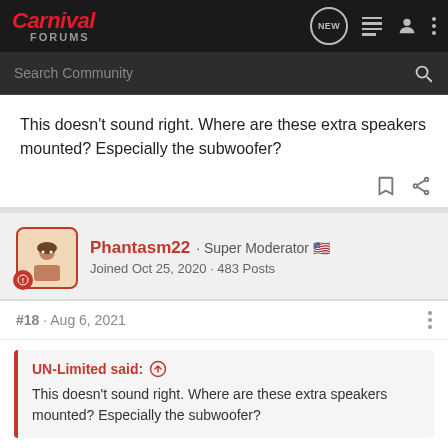Carnival Forums
This doesn't sound right. Where are these extra speakers mounted? Especially the subwoofer?
Phantasm22 · Super Moderator
Joined Oct 25, 2020 · 483 Posts
#18 · Aug 6, 2021
UN-Limited said: ↑
This doesn't sound right. Where are these extra speakers mounted? Especially the subwoofer?